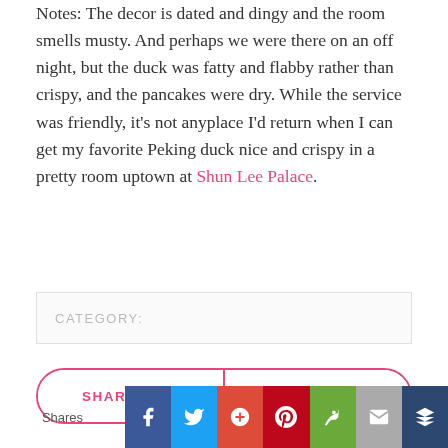Notes: The decor is dated and dingy and the room smells musty. And perhaps we were there on an off night, but the duck was fatty and flabby rather than crispy, and the pancakes were dry. While the service was friendly, it’s not anyplace I’d return when I can get my favorite Peking duck nice and crispy in a pretty room uptown at Shun Lee Palace.
CATEGORY:
SHARE THIS
READ FULL POST
Shares